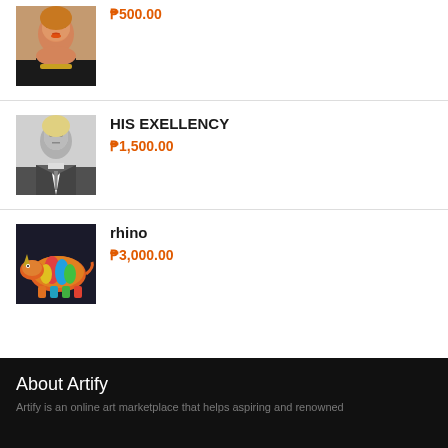[Figure (photo): Portrait photo of a woman with orange makeup and gold necklace]
₱500.00
HIS EXELLENCY
[Figure (photo): Grayscale portrait of a man in a suit and tie]
₱1,500.00
rhino
[Figure (photo): Colorful painting of a rhinoceros with multicolored stripes on dark background]
₱3,000.00
About Artify
Artify is an online art marketplace that helps aspiring and renowned